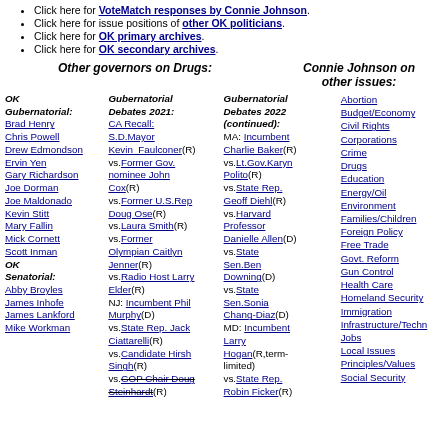Click here for VoteMatch responses by Connie Johnson.
Click here for issue positions of other OK politicians.
Click here for OK primary archives.
Click here for OK secondary archives.
Other governors on Drugs:
Connie Johnson on other issues:
OK Gubernatorial: Brad Henry, Chris Powell, Drew Edmondson, Ervin Yen, Gary Richardson, Joe Dorman, Joe Maldonado, Kevin Stitt, Mary Fallin, Mick Cornett, Scott Inman, OK Senatorial: Abby Broyles, James Inhofe, James Lankford, Mike Workman
Gubernatorial Debates 2021: CA Recall: S.D.Mayor Kevin_Faulconer(R) vs.Former Gov. nominee John Cox(R) vs.Former U.S.Rep Doug Ose(R) vs.Laura Smith(R) vs.Former Olympian Caitlyn Jenner(R) vs.Radio Host Larry Elder(R) NJ: Incumbent Phil Murphy(D) vs.State Rep. Jack Ciattarelli(R) vs.Candidate Hirsh Singh(R) vs.GOP Chair Doug Steinhardt(R)
Gubernatorial Debates 2022 (continued): MA: Incumbent Charlie Baker(R) vs.Lt.Gov.Karyn Polito(R) vs.State Rep. Geoff Diehl(R) vs.Harvard Professor Danielle Allen(D) vs.State Sen.Ben Downing(D) vs.State Sen.Sonia Chang-Diaz(D) MD: Incumbent Larry Hogan(R,term-limited) vs.State Rep. Robin Ficker(R)
Abortion, Budget/Economy, Civil Rights, Corporations, Crime, Drugs, Education, Energy/Oil, Environment, Families/Children, Foreign Policy, Free Trade, Govt. Reform, Gun Control, Health Care, Homeland Security, Immigration, Infrastructure/Technology, Jobs, Local Issues, Principles/Values, Social Security